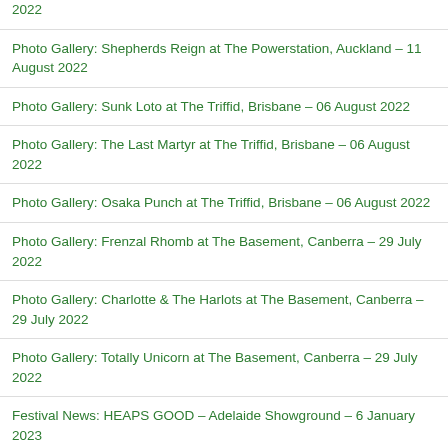2022
Photo Gallery: Shepherds Reign at The Powerstation, Auckland – 11 August 2022
Photo Gallery: Sunk Loto at The Triffid, Brisbane – 06 August 2022
Photo Gallery: The Last Martyr at The Triffid, Brisbane – 06 August 2022
Photo Gallery: Osaka Punch at The Triffid, Brisbane – 06 August 2022
Photo Gallery: Frenzal Rhomb at The Basement, Canberra – 29 July 2022
Photo Gallery: Charlotte & The Harlots at The Basement, Canberra – 29 July 2022
Photo Gallery: Totally Unicorn at The Basement, Canberra – 29 July 2022
Festival News: HEAPS GOOD – Adelaide Showground – 6 January 2023
Etta…